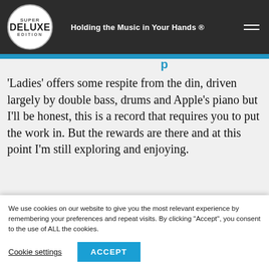Super Deluxe Edition — Holding the Music in Your Hands ®
'Ladies' offers some respite from the din, driven largely by double bass, drums and Apple's piano but I'll be honest, this is a record that requires you to put the work in. But the rewards are there and at this point I'm still exploring and enjoying.
Read
[Figure (screenshot): Blue promotional banner with close X button and text 'NEVER MISS A RELEASE.']
We use cookies on our website to give you the most relevant experience by remembering your preferences and repeat visits. By clicking "Accept", you consent to the use of ALL the cookies.
Cookie settings   ACCEPT